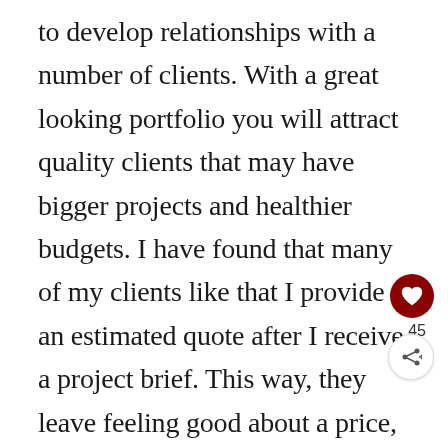to develop relationships with a number of clients. With a great looking portfolio you will attract quality clients that may have bigger projects and healthier budgets. I have found that many of my clients like that I provide an estimated quote after I receive a project brief. This way, they leave feeling good about a price, and I leave a little bit of wiggle room just in case a project takes more or less time to complete. I also ask a percent of the estimated invoice to be paid as a downpayment / Kill fee to begin